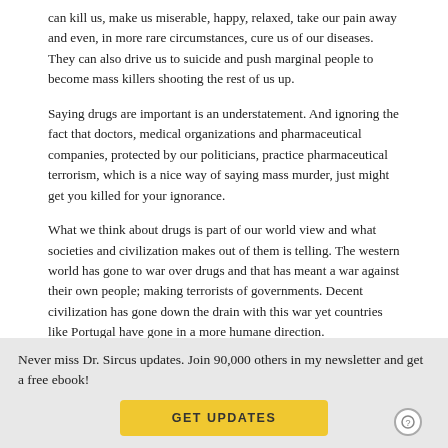can kill us, make us miserable, happy, relaxed, take our pain away and even, in more rare circumstances, cure us of our diseases. They can also drive us to suicide and push marginal people to become mass killers shooting the rest of us up.
Saying drugs are important is an understatement. And ignoring the fact that doctors, medical organizations and pharmaceutical companies, protected by our politicians, practice pharmaceutical terrorism, which is a nice way of saying mass murder, just might get you killed for your ignorance.
What we think about drugs is part of our world view and what societies and civilization makes out of them is telling. The western world has gone to war over drugs and that has meant a war against their own people; making terrorists of governments. Decent civilization has gone down the drain with this war yet countries like Portugal have gone in a more humane direction.
Never miss Dr. Sircus updates. Join 90,000 others in my newsletter and get a free ebook!
GET UPDATES